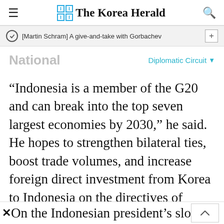The Korea Herald
[Martin Schram] A give-and-take with Gorbachev
National
Diplomatic Circuit
“Indonesia is a member of the G20 and can break into the top seven largest economies by 2030,” he said. He hopes to strengthen bilateral ties, boost trade volumes, and increase foreign direct investment from Korea to Indonesia on the directives of Indonesian President Joko Widodo.
On the Indonesian president’s slogan of